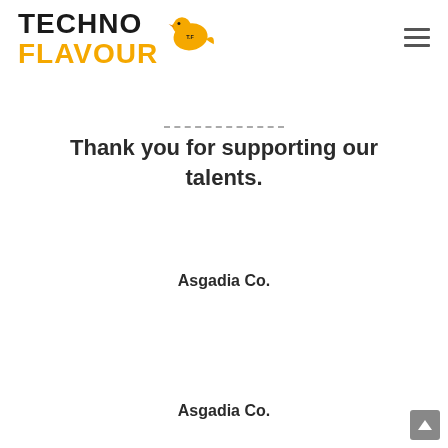[Figure (logo): TechnoFlavour logo with a yellow bird and bold text. 'TECHNO' in black uppercase, 'FLAVOUR' in yellow/orange uppercase, bird illustration with T.F initials.]
- - - - - - - - - - - - -
Thank you for supporting our talents.
Asgadia Co.
Asgadia Co.